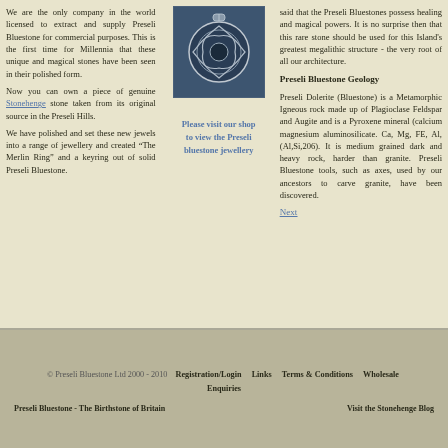We are the only company in the world licensed to extract and supply Preseli Bluestone for commercial purposes. This is the first time for Millennia that these unique and magical stones have been seen in their polished form.
Now you can own a piece of genuine Stonehenge stone taken from its original source in the Preseli Hills.
We have polished and set these new jewels into a range of jewellery and created “The Merlin Ring” and a keyring out of solid Preseli Bluestone.
[Figure (photo): Photo of a Preseli Bluestone jewellery piece with Celtic knotwork design on dark background]
Please visit our shop to view the Preseli bluestone jewellery
said that the Preseli Bluestones possess healing and magical powers. It is no surprise then that this rare stone should be used for this Island's greatest megalithic structure - the very root of all our architecture.
Preseli Bluestone Geology
Preseli Dolerite (Bluestone) is a Metamorphic Igneous rock made up of Plagioclase Feldspar and Augite and is a Pyroxene mineral (calcium magnesium aluminosilicate. Ca, Mg, FE, Al, (Al,Si,206). It is medium grained dark and heavy rock, harder than granite. Preseli Bluestone tools, such as axes, used by our ancestors to carve granite, have been discovered.
Next
© Preseli Bluestone Ltd 2000 - 2010   Registration/Login   Links   Terms & Conditions   Wholesale Enquiries
Preseli Bluestone - The Birthstone of Britain
Visit the Stonehenge Blog